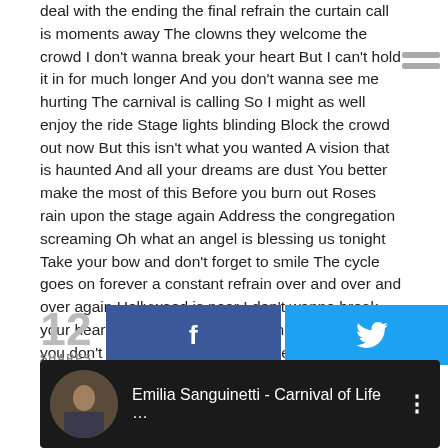deal with the ending the final refrain the curtain call is moments away The clowns they welcome the crowd I don't wanna break your heart But I can't hold it in for much longer And you don't wanna see me hurting The carnival is calling So I might as well enjoy the ride Stage lights blinding Block the crowd out now But this isn't what you wanted A vision that is haunted And all your dreams are dust You better make the most of this Before you burn out Roses rain upon the stage again Address the congregation screaming Oh what an angel is blessing us tonight Take your bow and don't forget to smile The cycle goes on forever a constant refrain over and over and over again Hollywood is near I don't wanna break your heart But I can't hold it in for much longer And you don't wanna see me hurting The carnival is calling so I might as well enjoy the ride
12 SHARES
[Figure (other): Social share buttons: Facebook (f) button in dark blue and Twitter bird button in cyan blue, with share count '12 SHARES' on the left]
[Figure (screenshot): YouTube video bar showing thumbnail of person and title 'Emilia Sanguinetti - Carnival of Life ...' with three-dot menu icon, on dark background]